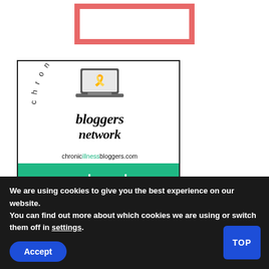[Figure (illustration): Red/salmon colored rectangular border outline on white background]
[Figure (logo): Chronic Illness Bloggers Network badge. Shows a laptop with a colorful awareness ribbon on screen, text 'bloggers network' in italic script, curved text reading 'chronic illness' around the top, URL 'chronicillnessbloggers.com', and green 'proud member' banner at bottom.]
We are using cookies to give you the best experience on our website.
You can find out more about which cookies we are using or switch them off in settings.
Accept
TOP